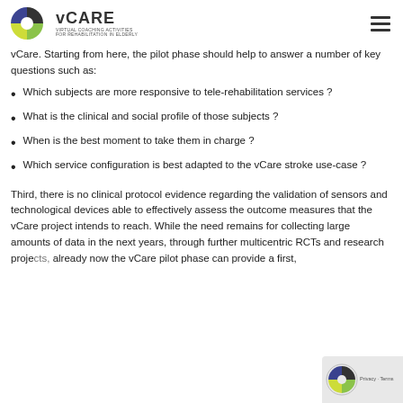vCare - Virtual Coaching Activities for Rehabilitation in Elderly
vCare. Starting from here, the pilot phase should help to answer a number of key questions such as:
Which subjects are more responsive to tele-rehabilitation services ?
What is the clinical and social profile of those subjects ?
When is the best moment to take them in charge ?
Which service configuration is best adapted to the vCare stroke use-case ?
Third, there is no clinical protocol evidence regarding the validation of sensors and technological devices able to effectively assess the outcome measures that the vCare project intends to reach. While the need remains for collecting large amounts of data in the next years, through further multicentric RCTs and research projects, already now the vCare pilot phase can provide a first, significant finding.